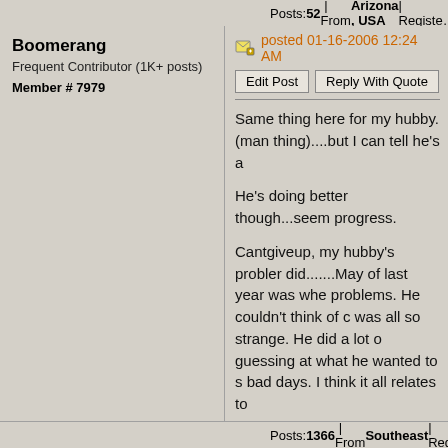Posts: 52 | From Arizona , USA | Registe...
Boomerang
Frequent Contributor (1K+ posts)
Member # 7979
posted 01-16-2006 12:24 AM
Edit Post   Reply With Quote
Same thing here for my hubby. (man thing)....but I can tell he's a

He's doing better though...seem progress.

Cantgiveup, my hubby's probler did.......May of last year was whe problems. He couldn't think of c was all so strange. He did a lot o guessing at what he wanted to s bad days. I think it all relates to

I agree, stress makes it all wors

He is doing better though, slow

When I read of the people on he years, I feel we are pretty lucky

Take care all.
Posts: 1366 | From Southeast | Registe...